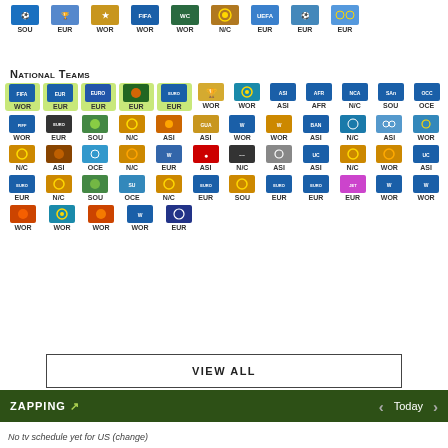[Figure (screenshot): Row of sports competition icons with labels: SOU, EUR, WOR, WOR, WOR, N/C, EUR, EUR, EUR]
National Teams
[Figure (screenshot): Grid of sports competition icons for National Teams with labels including WOR, EUR, EUR, EUR, EUR, WOR, WOR, ASI, AFR, N/C, SOU, OCE and more rows]
VIEW ALL
ZAPPING ↗   <   Today   >
No tv schedule yet for US (change)